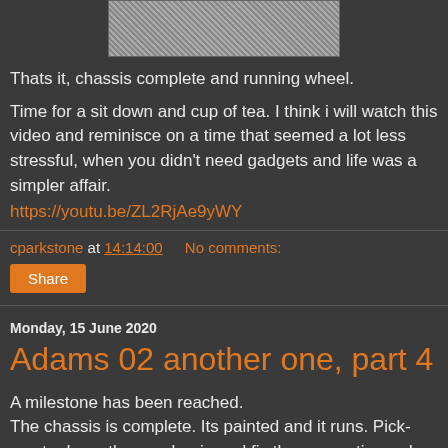[Figure (photo): Grainy/textured photo, partially cropped at top, showing a dark gritty surface]
Thats it, chassis complete and running wheel.
Time for a sit down and cup of tea. I think i will watch this video and reminisce on a time that seemed a lot less stressful, when you didn't need gadgets and life was a simpler affair.
https://youtu.be/ZL2RjAe9yWY
cparkstone at 14:14:00   No comments:
Share
Monday, 15 June 2020
Adams 02 another one, part 4
A milestone has been reached.
The chassis is complete. Its painted and it runs. Pick-ups to do on the rear bogie and fix the connecting rods on. Job done.